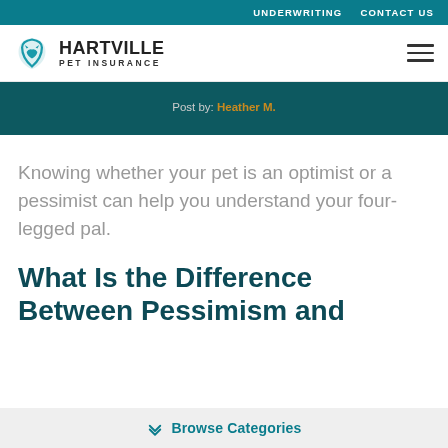UNDERWRITING  CONTACT US
[Figure (logo): Hartville Pet Insurance logo with teal shield/cat icon and company name]
Post by: Heather M.
Knowing whether your pet is an optimist or a pessimist can help you understand your four-legged pal.
What Is the Difference Between Pessimism and
Browse Categories